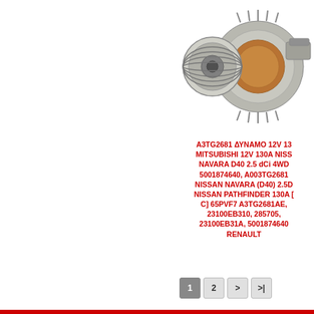[Figure (photo): Automotive alternator/dynamo component photo showing a metallic alternator with pulley wheel, copper windings and mounting bracket visible]
A3TG2681 ΔΥΝΑΜΟ 12V 130A MITSUBISHI 12V 130A NISSAN NAVARA D40 2.5 dCi 4WD 5001874640, A003TG2681 NISSAN NAVARA (D40) 2.5D NISSAN PATHFINDER 130A [C] 65PVF7 A3TG2681AE, 23100EB310, 285705, 23100EB31A, 5001874640 RENAULT
Κωδ. A3TG2681 ΔΥΝΑΜΟ 12V 130A MITSUBISHI 12V 130A NISSAN NAVARA
Πληροφο...